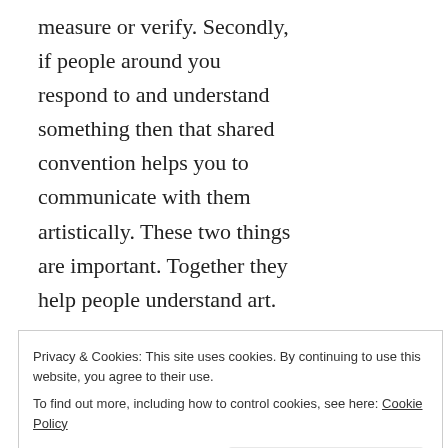measure or verify. Secondly, if people around you respond to and understand something then that shared convention helps you to communicate with them artistically. These two things are important. Together they help people understand art.
Well known rules, like the 'Rule of Thirds', have an accepted success in the visual arts because they produce pleasing, artistic results. The concept of having a picture slightly off-
Privacy & Cookies: This site uses cookies. By continuing to use this website, you agree to their use. To find out more, including how to control cookies, see here: Cookie Policy
Putting something on a 'third' is a